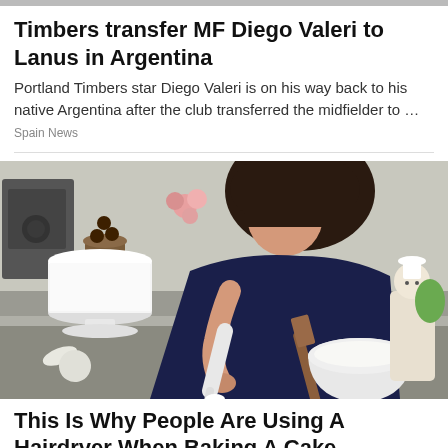Timbers transfer MF Diego Valeri to Lanus in Argentina
Portland Timbers star Diego Valeri is on his way back to his native Argentina after the club transferred the midfielder to …
Spain News
[Figure (photo): A dark-haired woman in a navy top leans over a stainless steel counter, using a piping bag to decorate. A white frosted cake on a pedestal stand is to her left, a mixing bowl with cream is to her right, and various baking items are on the counter. A decorative figurine is at the far right.]
This Is Why People Are Using A Hairdryer When Baking A Cake